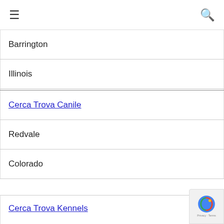≡  🔍
| Barrington |
| Illinois |
| Cerca Trova Canile |
| Redvale |
| Colorado |
Cerca Trova Kennels